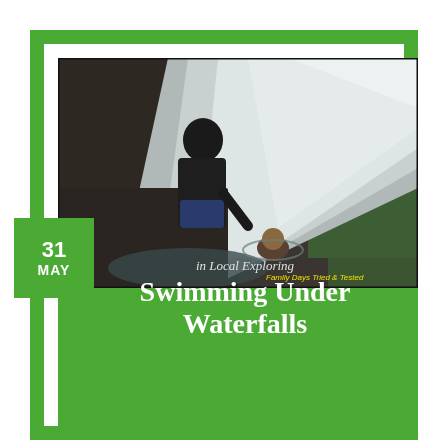[Figure (photo): A man in a dark long-sleeve shirt and blue shorts stands on a rocky waterfall surface, reaching down toward a child swimming in the water below. The waterfall cascades diagonally across the frame with mossy green rocks visible on the right side. Watermark reads 'Family Days Tried & Tested' in yellow text.]
31
MAY
in Local Exploring
Swimming Under Waterfalls